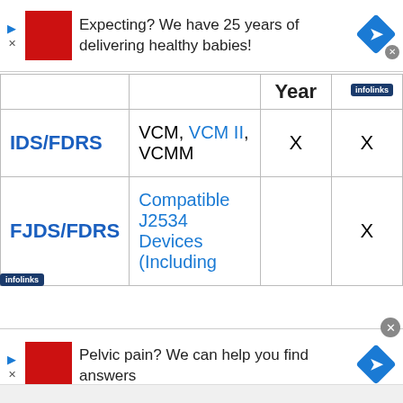[Figure (screenshot): Advertisement banner: red square logo, text 'Expecting? We have 25 years of delivering healthy babies!', blue diamond arrow icon, close button]
|  |  | Year |  |
| --- | --- | --- | --- |
| IDS/FDRS | VCM, VCM II, VCMM | X | X |
| FJDS/FDRS | Compatible J2534 Devices (Including |  | X |
[Figure (screenshot): Advertisement banner: red square logo, text 'Pelvic pain? We can help you find answers', blue diamond arrow icon, close button]
[Figure (logo): infolinks badge]